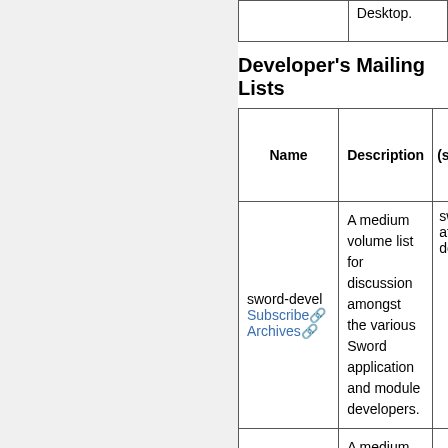| Name | Description | (s... |
| --- | --- | --- |
|  | Desktop. |  |
| sword-devel
Subscribe  Archives | A medium volume list for discussion amongst the various Sword application and module developers. | sw... at... do... |
|  | A medium volume list |  |
Developer's Mailing Lists